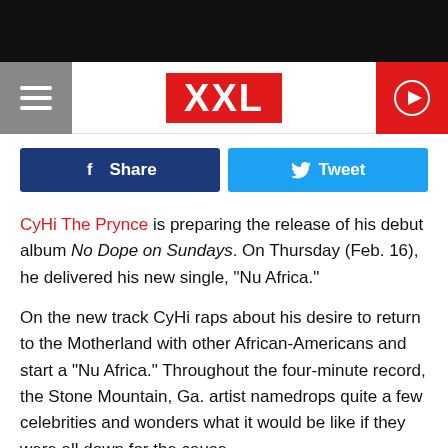[Figure (logo): XXL magazine logo in red rectangle, flanked by hamburger menu on left (gray background) and play button on right (red background)]
[Figure (infographic): Social sharing buttons: blue Facebook Share button and cyan Twitter Tweet button]
CyHi The Prynce is preparing the release of his debut album No Dope on Sundays. On Thursday (Feb. 16), he delivered his new single, "Nu Africa."
On the new track CyHi raps about his desire to return to the Motherland with other African-Americans and start a "Nu Africa." Throughout the four-minute record, the Stone Mountain, Ga. artist namedrops quite a few celebrities and wonders what it would be like if they were all down for the cause.